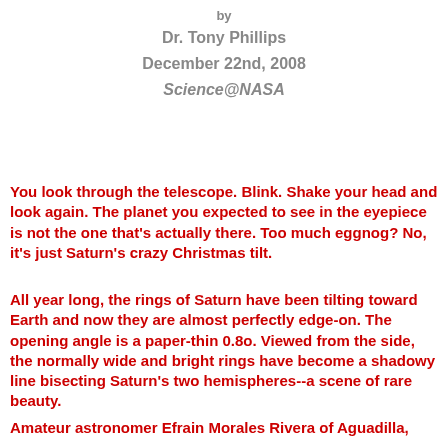by
Dr. Tony Phillips
December 22nd, 2008
Science@NASA
You look through the telescope. Blink. Shake your head and look again. The planet you expected to see in the eyepiece is not the one that's actually there. Too much eggnog? No, it's just Saturn's crazy Christmas tilt.
All year long, the rings of Saturn have been tilting toward Earth and now they are almost perfectly edge-on. The opening angle is a paper-thin 0.8o. Viewed from the side, the normally wide and bright rings have become a shadowy line bisecting Saturn's two hemispheres--a scene of rare beauty.
Amateur astronomer Efrain Morales Rivera of Aguadilla,